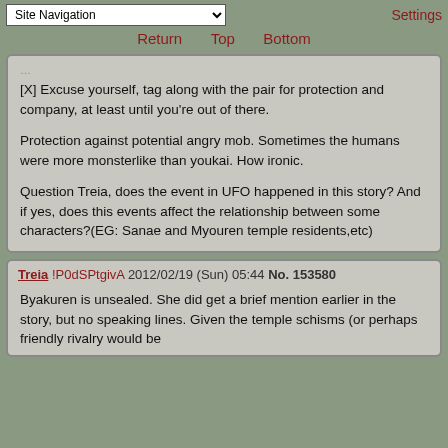Site Navigation | Settings | Return | Top | Bottom
[X] Excuse yourself, tag along with the pair for protection and company, at least until you're out of there.

Protection against potential angry mob. Sometimes the humans were more monsterlike than youkai. How ironic.

Question Treia, does the event in UFO happened in this story? And if yes, does this events affect the relationship between some characters?(EG: Sanae and Myouren temple residents,etc)
Treia !P0dSPtgivA 2012/02/19 (Sun) 05:44 No. 153580

Byakuren is unsealed. She did get a brief mention earlier in the story, but no speaking lines. Given the temple schisms (or perhaps friendly rivalry would be the better word) the residents of each data would be...